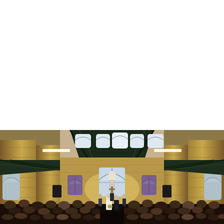[Figure (photo): Interior of a sandstone church during a wedding ceremony. The church features large golden sandstone pillars, arched stained glass windows at the altar, and a distinctive octagonal upper level with dark timber beams and industrial strip lighting. The bride and groom stand at the altar in the centre, with seated wedding guests visible in the foreground pews. The roof structure is dramatic with dark chevron-patterned rafters.]